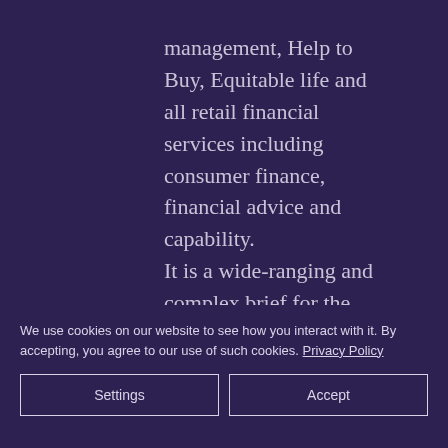management, Help to Buy, Equitable life and all retail financial services including consumer finance, financial advice and capability. It is a wide-ranging and complex brief for the 35-year old Labour MP for Leeds East who was only elected in May 2015 and appointed to the frontbench just four months later. He has no notable experience in financial services. Meanwhile, his
We use cookies on our website to see how you interact with it. By accepting, you agree to our use of such cookies. Privacy Policy